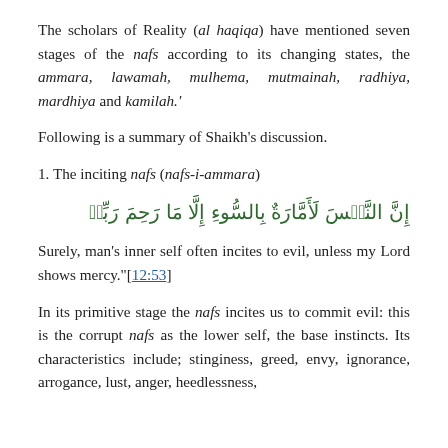The scholars of Reality (al haqiqa) have mentioned seven stages of the nafs according to its changing states, the ammara, lawamah, mulhema, mutmainah, radhiya, mardhiya and kamilah.'
Following is a summary of Shaikh’s discussion.
1. The inciting nafs (nafs-i-ammara)
إنّ النَّفْسَ لَأَمَّارَةٌ بِالسُّوءِ إلَّا مَا رَحِمَ رَبِّيْ
Surely, man’s inner self often incites to evil, unless my Lord shows mercy.”[12:53]
In its primitive stage the nafs incites us to commit evil: this is the corrupt nafs as the lower self, the base instincts. Its characteristics include; stinginess, greed, envy, ignorance, arrogance, lust, anger, heedlessness,